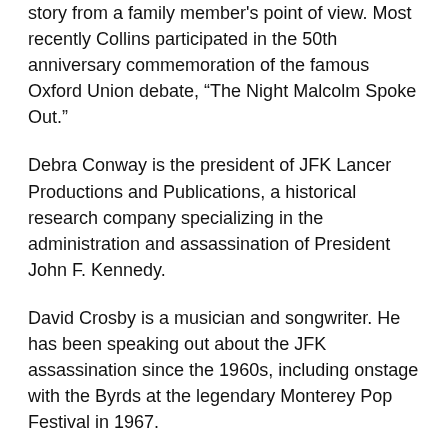story from a family member's point of view. Most recently Collins participated in the 50th anniversary commemoration of the famous Oxford Union debate, “The Night Malcolm Spoke Out.”
Debra Conway is the president of JFK Lancer Productions and Publications, a historical research company specializing in the administration and assassination of President John F. Kennedy.
David Crosby is a musician and songwriter. He has been speaking out about the JFK assassination since the 1960s, including onstage with the Byrds at the legendary Monterey Pop Festival in 1967.
Edward Curtin is a sociologist who teaches at Massachusetts College of Liberal Arts. He is a widely published essayist who has written extensively about the assassinations of John and Robert Kennedy and Martin Luther King Jr.